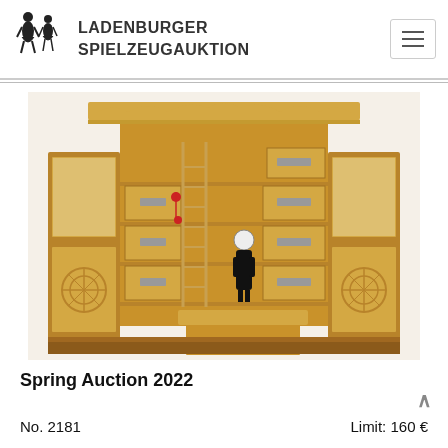LADENBURGER SPIELZEUGAUKTION
[Figure (photo): Antique toy shop display with wooden cabinetry, drawers, a ladder, display cases on both sides, and a small figurine standing behind a counter]
Spring Auction 2022
No. 2181    Limit: 160 €